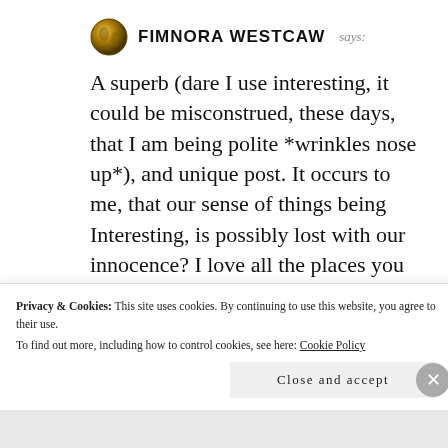FIMNORA WESTCAW says:
A superb (dare I use interesting, it could be misconstrued, these days, that I am being polite *wrinkles nose up*), and unique post. It occurs to me, that our sense of things being Interesting, is possibly lost with our innocence? I love all the places you discovered this ever so important companion.
Privacy & Cookies: This site uses cookies. By continuing to use this website, you agree to their use.
To find out more, including how to control cookies, see here: Cookie Policy
Close and accept